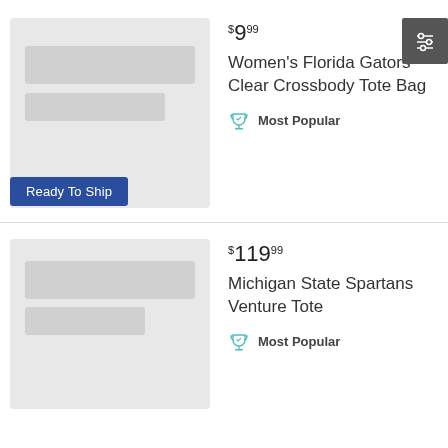$9.99
Women's Florida Gators Clear Crossbody Tote Bag
Most Popular
Ready To Ship
$119.99
Michigan State Spartans Venture Tote
Most Popular